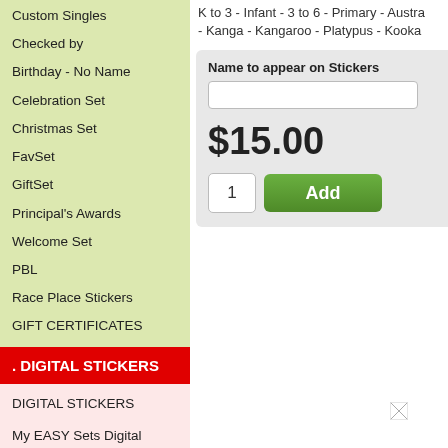Custom Singles
Checked by
Birthday - No Name
Celebration Set
Christmas Set
FavSet
GiftSet
Principal's Awards
Welcome Set
PBL
Race Place Stickers
GIFT CERTIFICATES
. DIGITAL STICKERS
DIGITAL STICKERS
My EASY Sets Digital
K to 3 - Infant - 3 to 6 - Primary - Austra - Kanga - Kangaroo - Platypus - Kooka
Name to appear on Stickers
$15.00
1
Add